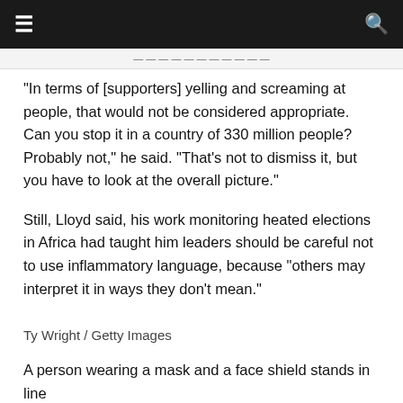“In terms of [supporters] yelling and screaming at people, that would not be considered appropriate. Can you stop it in a country of 330 million people? Probably not,” he said. “That’s not to dismiss it, but you have to look at the overall picture.”
Still, Lloyd said, his work monitoring heated elections in Africa had taught him leaders should be careful not to use inflammatory language, because “others may interpret it in ways they don’t mean.”
Ty Wright / Getty Images
A person wearing a mask and a face shield stands in line